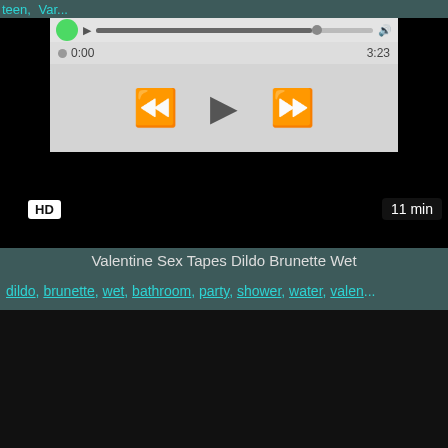teen, ... Var...
[Figure (screenshot): Video player UI showing progress bar, time 0:00 / 3:23, playback controls (rewind, play, fast-forward), overlaid on black video area]
HD   11 min
Valentine Sex Tapes Dildo Brunette Wet
dildo, brunette, wet, bathroom, party, shower, water, valen...
[Figure (screenshot): Black video thumbnail for a second video]